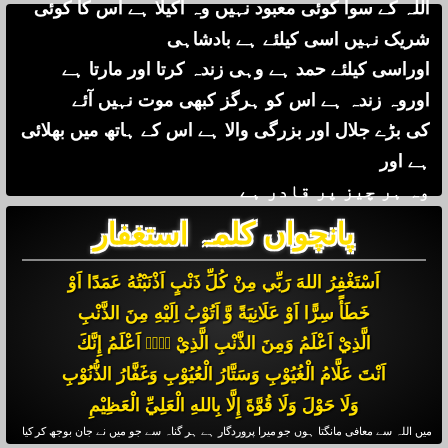اللہ کے سوا کوئی معبود نہیں وہ اکیلا ہے اس کا کوئی شریک نہیں اسی کیلئے ہے بادشاہی اوراسی کیلئے حمد ہے وہی زندہ کرتا اور مارتا ہے اوروہ زندہ ہے اس کو ہرگز کبھی موت نہیں آئے کی بڑے جلال اور بزرگی والا ہے اس کے ہاتھ میں بھلائی ہے اور وہ ہر چیز پر قادر ہے
پانچواں کلمہ استغفار
اَسْتَغْفِرُ اللهَ رَبِّي مِنْ كُلِّ ذَنْبٍ اَذْنَبْتُهُ عَمَدًا اَوْ خَطَأً سِرًّا اَوْ عَلَانِيَةً وَّ اَتُوْبُ اِلَيْهِ مِنَ الذَّنْبِ الَّذِيْ اَعْلَمُ وَمِنَ الذَّنْبِ الَّذِيْ لَاۤ اَعْلَمُ إِنَّكَ اَنْتَ عَلَّامُ الْغُيُوْبِ وَسَتَّارُ الْعُيُوْبِ وَغَفَّارُ الذُّنُوْبِ وَلَا حَوْلَ وَلَا قُوَّةَ إِلَّا بِاللهِ الْعَلِيِّ الْعَظِيْمِ
میں اللہ سے معافی مانگتا ہوں جو میرا پروردگار ہے ہر گناہ سے جو میں نے جان بوجھ کر کیا